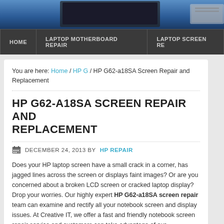[Figure (photo): Website header with laptop images on blue gradient background]
HOME | LAPTOP MOTHERBOARD REPAIR | LAPTOP SCREEN RE...
You are here: Home / HP G / HP G62-a18SA Screen Repair and Replacement
HP G62-A18SA SCREEN REPAIR AND REPLACEMENT
DECEMBER 24, 2013 BY HP REPAIR
Does your HP laptop screen have a small crack in a corner, has jagged lines across the screen or displays faint images? Or are you concerned about a broken LCD screen or cracked laptop display? Drop your worries. Our highly expert HP G62-a18SA screen repair team can examine and rectify all your notebook screen and display issues. At Creative IT, we offer a fast and friendly notebook screen repair service and customers can take advantage of our comprehensive check up for various laptop screen problems associated with all HP notebook models.